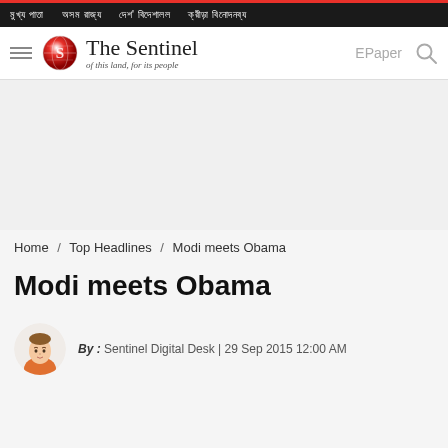The Sentinel — of this land, for its people
Home / Top Headlines / Modi meets Obama
Modi meets Obama
By : Sentinel Digital Desk | 29 Sep 2015 12:00 AM